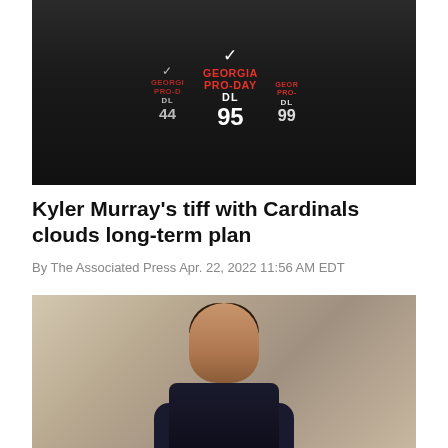[Figure (photo): Three men wearing black Georgia Pro-Day shirts with numbers DL 44, DL 95, and DL 99]
Kyler Murray's tiff with Cardinals clouds long-term plan
By The Associated Press Apr. 22, 2022 11:56 AM EDT
[Figure (photo): Portrait of a man in a dark shirt against a neutral background]